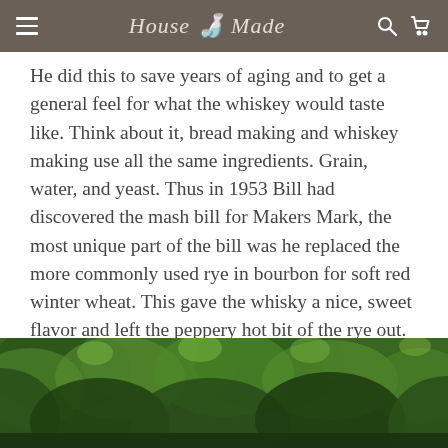House Made
He did this to save years of aging and to get a general feel for what the whiskey would taste like. Think about it, bread making and whiskey making use all the same ingredients. Grain, water, and yeast. Thus in 1953 Bill had discovered the mash bill for Makers Mark, the most unique part of the bill was he replaced the more commonly used rye in bourbon for soft red winter wheat. This gave the whisky a nice, sweet flavor and left the peppery hot bit of the rye out.
[Figure (photo): A lush green forest or woodland scene with dense tree canopy, photographed from below looking up or at eye level, showing various shades of green foliage.]